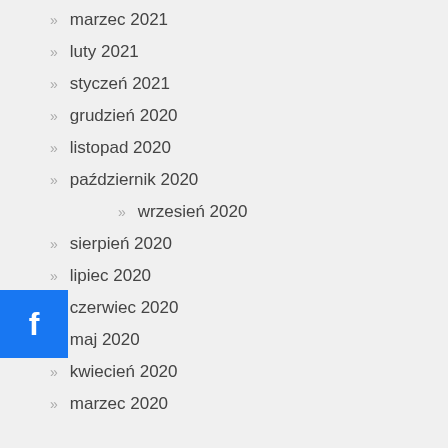marzec 2021
luty 2021
styczeń 2021
grudzień 2020
listopad 2020
październik 2020
wrzesień 2020
sierpień 2020
lipiec 2020
czerwiec 2020
maj 2020
kwiecień 2020
marzec 2020